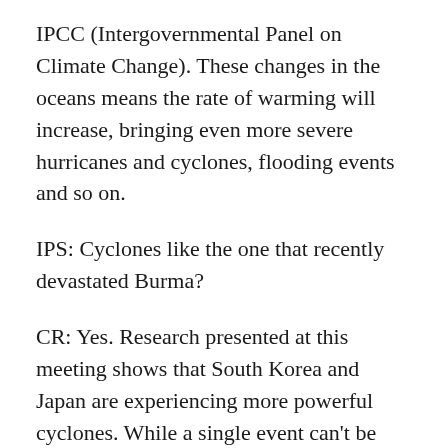IPCC (Intergovernmental Panel on Climate Change). These changes in the oceans means the rate of warming will increase, bringing even more severe hurricanes and cyclones, flooding events and so on.
IPS: Cyclones like the one that recently devastated Burma?
CR: Yes. Research presented at this meeting shows that South Korea and Japan are experiencing more powerful cyclones. While a single event can't be precisely connected to climate change, the Burma cyclone fits what is expected with climate change. Continue reading →